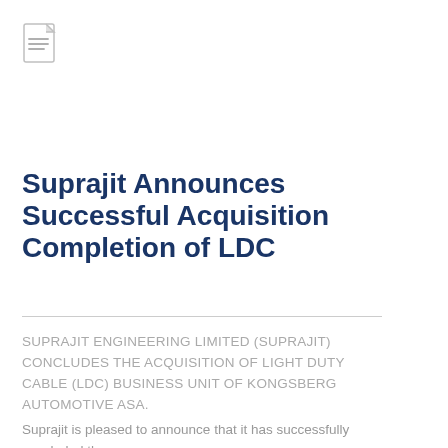[Figure (illustration): Document/file icon — a page with lines on it, grey outline style]
Suprajit Announces Successful Acquisition Completion of LDC
SUPRAJIT ENGINEERING LIMITED (SUPRAJIT) CONCLUDES THE ACQUISITION OF LIGHT DUTY CABLE (LDC) BUSINESS UNIT OF KONGSBERG AUTOMOTIVE ASA. Suprajit is pleased to announce that it has successfully concluded the